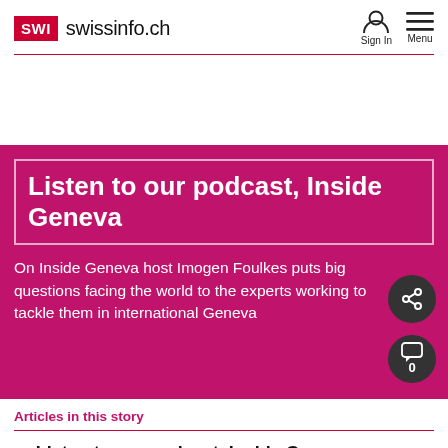SWI swissinfo.ch — Sign In Menu
[Figure (screenshot): swissinfo.ch website screenshot showing podcast banner for 'Listen to our podcast, Inside Geneva' with text 'On Inside Geneva host Imogen Foulkes puts big questions facing the world to the experts working to tackle them in international Geneva', share button, and comment count badge showing 0]
Articles in this story
Listen to our podcast, Inside Geneva